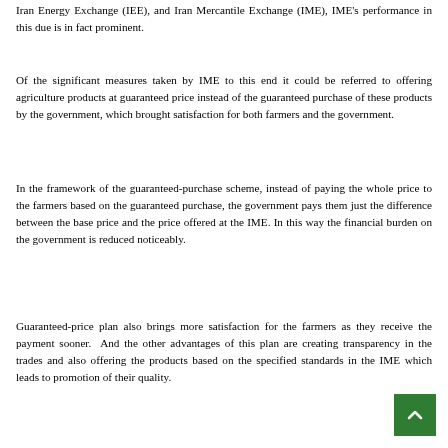Iran Energy Exchange (IEE), and Iran Mercantile Exchange (IME), IME's performance in this due is in fact prominent.
Of the significant measures taken by IME to this end it could be referred to offering agriculture products at guaranteed price instead of the guaranteed purchase of these products by the government, which brought satisfaction for both farmers and the government.
In the framework of the guaranteed-purchase scheme, instead of paying the whole price to the farmers based on the guaranteed purchase, the government pays them just the difference between the base price and the price offered at the IME. In this way the financial burden on the government is reduced noticeably.
Guaranteed-price plan also brings more satisfaction for the farmers as they receive the payment sooner. And the other advantages of this plan are creating transparency in the trades and also offering the products based on the specified standards in the IME which leads to promotion of their quality.